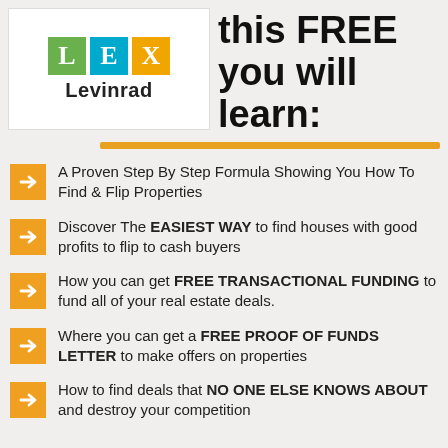[Figure (logo): Lex Levinrad logo with colored letter blocks L (green), E (blue), X (orange) above the text 'Levinrad']
this FREE you will learn:
A Proven Step By Step Formula Showing You How To Find & Flip Properties
Discover The EASIEST WAY to find houses with good profits to flip to cash buyers
How you can get FREE TRANSACTIONAL FUNDING to fund all of your real estate deals.
Where you can get a FREE PROOF OF FUNDS LETTER to make offers on properties
How to find deals that NO ONE ELSE KNOWS ABOUT and destroy your competition